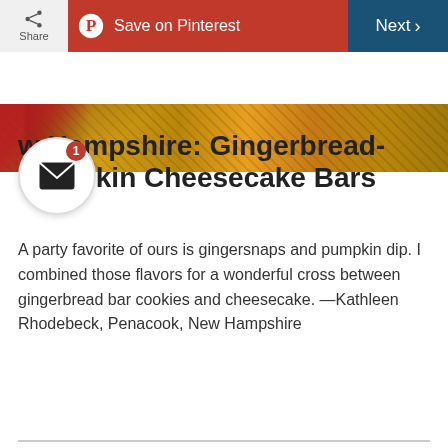[Figure (screenshot): Top toolbar with Share button, Save on Pinterest (red), and Next (dark blue) navigation buttons]
[Figure (photo): Food photo strip showing gingerbread-pumpkin cheesecake bars with red plaid background]
w Hampshire: Gingerbread-Pumpkin Cheesecake Bars
A party favorite of ours is gingersnaps and pumpkin dip. I combined those flavors for a wonderful cross between gingerbread bar cookies and cheesecake. —Kathleen Rhodebeck, Penacook, New Hampshire
Go to Recipe